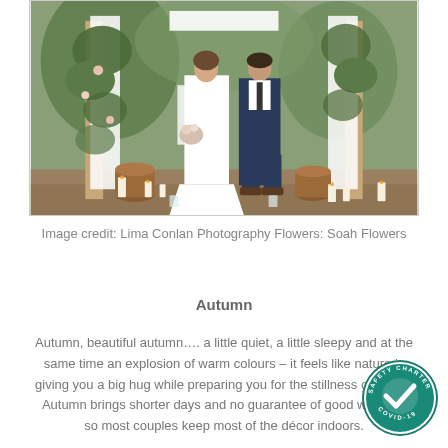[Figure (photo): Wedding couple standing under a floral arch decorated with greenery and hanging flowers, with candles and wood stumps at their feet, outdoors in a garden setting. Bride in white dress, groom in navy suit.]
Image credit: Lima Conlan Photography Flowers: Soah Flowers
Autumn
Autumn, beautiful autumn…. a little quiet, a little sleepy and at the same time an explosion of warm colours – it feels like nature is giving you a big hug while preparing you for the stillness of winter.  Autumn brings shorter days and no guarantee of good weather, so most couples keep most of the décor indoors.